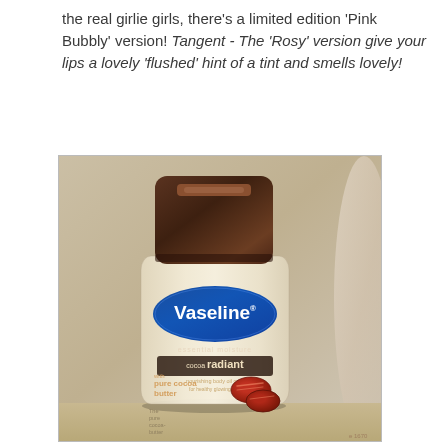the real girlie girls, there's a limited edition 'Pink Bubbly' version! Tangent - The 'Rosy' version give your lips a lovely 'flushed' hint of a tint and smells lovely!
[Figure (photo): A bottle of Vaseline Essential Moisture Cocoa Radiant body oil with pure cocoa butter, photographed against a beige/cream background on a surface. The bottle has a dark brown flip-top cap and a clear body showing the liquid inside, with a blue oval Vaseline label and product branding visible.]